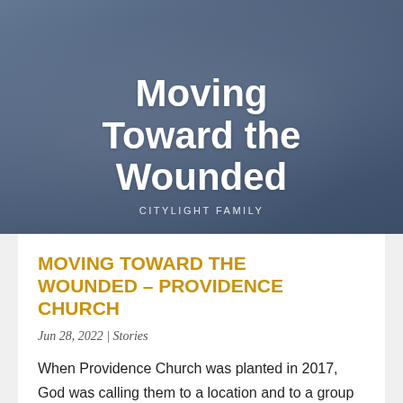[Figure (photo): Hero image with dark blue-gray overlay showing people holding hands, with large white bold text reading 'Moving Toward the Wounded' and subtitle 'CITYLIGHT FAMILY']
MOVING TOWARD THE WOUNDED – PROVIDENCE CHURCH
Jun 28, 2022 | Stories
When Providence Church was planted in 2017, God was calling them to a location and to a group of women that was